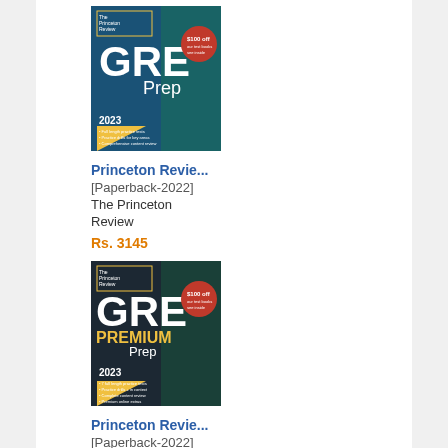[Figure (illustration): GRE Prep 2023 book cover by The Princeton Review]
Princeton Revie...
[Paperback-2022]
The Princeton Review
Rs. 3145
[Figure (illustration): GRE Premium Prep 2023 book cover by The Princeton Review]
Princeton Revie...
[Paperback-2022]
The Princeton Review
Rs. 4315